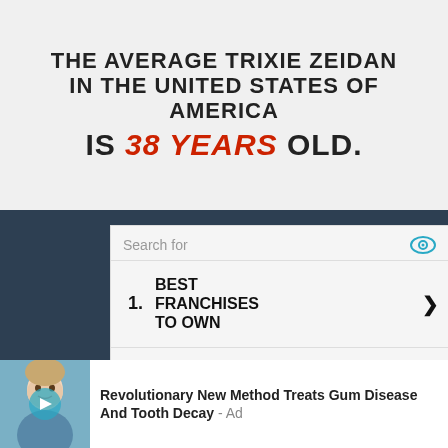[Figure (infographic): Infographic banner on light gray background stating 'THE AVERAGE TRIXIE ZEIDAN IN THE UNITED STATES OF AMERICA IS 38 YEARS OLD.' with '38 YEARS' in bold red italic.]
[Figure (screenshot): Search ad listing three items: 1. BEST FRANCHISES TO OWN, 2. BEST CAR INSURANCE COMPANIES, 3. BEST MATTRESS REVIEWS, each with a right arrow chevron. Header says 'Search for' with a cyan eye icon. A 'Close X' button appears at bottom right.]
[Figure (infographic): Bottom ad with thumbnail image of a woman and text 'Revolutionary New Method Treats Gum Disease And Tooth Decay - Ad']